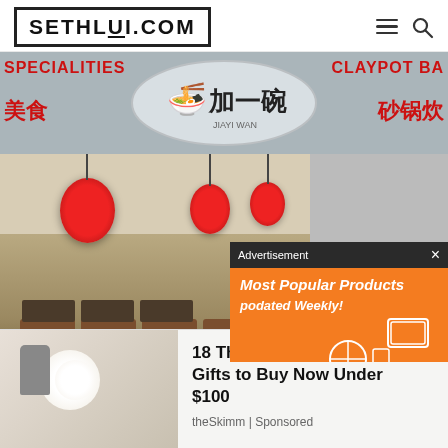SETHLUI.COM
[Figure (photo): Exterior and interior of a Chinese restaurant with red lanterns, Chinese characters '加一碗' on an oval sign, with text 'SPECIALITIES', '美食', 'CLAYPOT BA', '砂锅炊'. Interior shows dining tables, red lanterns, and traditional decor.]
[Figure (screenshot): Advertisement overlay in dark header reading 'Advertisement' with an orange background showing 'Most Popular Products Updated Weekly!' with shopping icons]
[Figure (infographic): Bottom banner ad with image of flowers and phone, text: '18 Thoughtful Wedding Gifts to Buy Now Under $100' sourced from 'theSkimm | Sponsored']